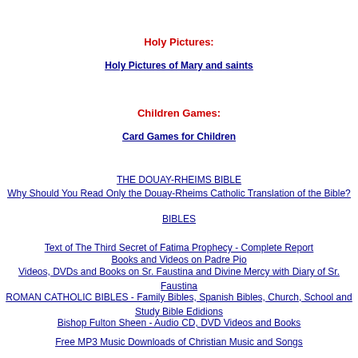Holy Pictures:
Holy Pictures of Mary and saints
Children Games:
Card Games for Children
THE DOUAY-RHEIMS BIBLE
Why Should You Read Only the Douay-Rheims Catholic Translation of the Bible?
BIBLES
Text of The Third Secret of Fatima Prophecy - Complete Report
Books and Videos on Padre Pio
Videos, DVDs and Books on Sr. Faustina and Divine Mercy with Diary of Sr. Faustina
ROMAN CATHOLIC BIBLES - Family Bibles, Spanish Bibles, Church, School and Study Bible Edidions
Bishop Fulton Sheen - Audio CD, DVD Videos and Books
Free MP3 Music Downloads of Christian Music and Songs